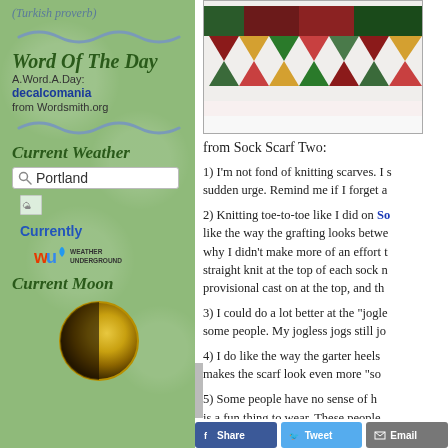(Turkish proverb)
Word Of The Day
A.Word.A.Day: decalcomania from Wordsmith.org
Current Weather
Portland
Currently
[Figure (logo): Weather Underground logo with colorful WU letters and text WEATHER UNDERGROUND]
Current Moon
[Figure (illustration): Half-lit moon circle, gold and dark brown, representing current moon phase]
[Figure (photo): Photo of a colorful knitted or quilted scarf/blanket with geometric patterns in red, green, gold, and teal stripes]
from Sock Scarf Two:
1) I'm not fond of knitting scarves. I s sudden urge. Remind me if I forget a
2) Knitting toe-to-toe like I did on So like the way the grafting looks betwe why I didn't make more of an effort t straight knit at the top of each sock r provisional cast on at the top, and th
3) I could do a lot better at the "jogle some people. My jogless jogs still jo
4) I do like the way the garter heels makes the scarf look even more "so
5) Some people have no sense of h is a fun thing to wear. These people kindness and compassion nonethe
Share  Tweet  Email